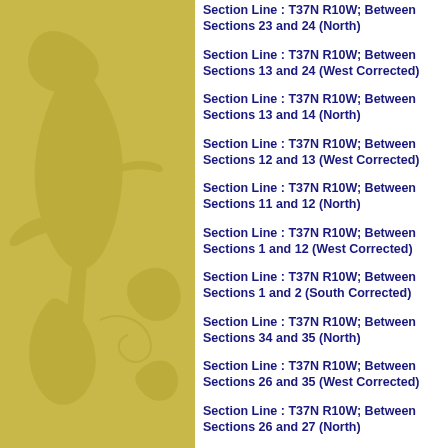Section Line : T37N R10W; Between Sections 23 and 24 (North)
Section Line : T37N R10W; Between Sections 13 and 24 (West Corrected)
Section Line : T37N R10W; Between Sections 13 and 14 (North)
Section Line : T37N R10W; Between Sections 12 and 13 (West Corrected)
Section Line : T37N R10W; Between Sections 11 and 12 (North)
Section Line : T37N R10W; Between Sections 1 and 12 (West Corrected)
Section Line : T37N R10W; Between Sections 1 and 2 (South Corrected)
Section Line : T37N R10W; Between Sections 34 and 35 (North)
Section Line : T37N R10W; Between Sections 26 and 35 (West Corrected)
Section Line : T37N R10W; Between Sections 26 and 27 (North)